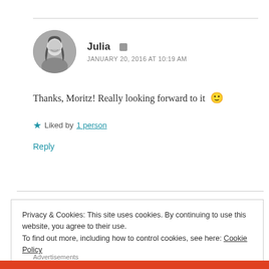Julia · JANUARY 20, 2016 AT 10:19 AM
Thanks, Moritz! Really looking forward to it 🙂
★ Liked by 1 person
Reply
Privacy & Cookies: This site uses cookies. By continuing to use this website, you agree to their use.
To find out more, including how to control cookies, see here: Cookie Policy
Close and accept
Advertisements